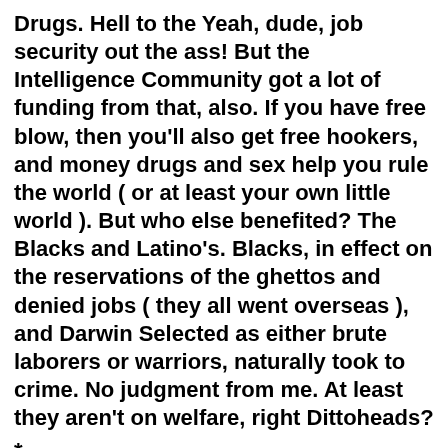Drugs.  Hell to the Yeah, dude, job security out the ass!  But the Intelligence Community got a lot of funding from that, also.  If you have free blow, then you'll also get free hookers, and money drugs and sex help you rule the world ( or at least your own little world ).  But who else benefited?  The Blacks and Latino's.  Blacks, in effect on the reservations of the ghettos and denied jobs ( they all went overseas ), and Darwin Selected as either brute laborers or warriors, naturally took to crime.  No judgment from me.  At least they aren't on welfare, right Dittoheads?
*
(partial line, cut off at bottom)